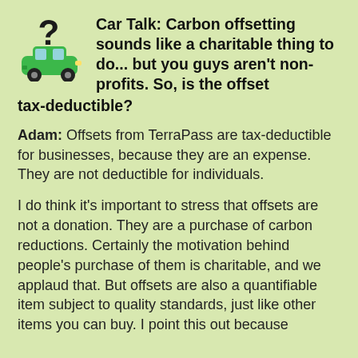Car Talk: Carbon offsetting sounds like a charitable thing to do... but you guys aren't non-profits. So, is the offset tax-deductible?
Adam: Offsets from TerraPass are tax-deductible for businesses, because they are an expense. They are not deductible for individuals.
I do think it's important to stress that offsets are not a donation. They are a purchase of carbon reductions. Certainly the motivation behind people's purchase of them is charitable, and we applaud that. But offsets are also a quantifiable item subject to quality standards, just like other items you can buy. I point this out because